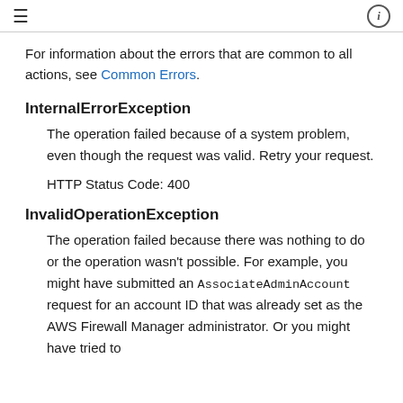≡  ⓘ
For information about the errors that are common to all actions, see Common Errors.
InternalErrorException
The operation failed because of a system problem, even though the request was valid. Retry your request.

HTTP Status Code: 400
InvalidOperationException
The operation failed because there was nothing to do or the operation wasn't possible. For example, you might have submitted an AssociateAdminAccount request for an account ID that was already set as the AWS Firewall Manager administrator. Or you might have tried to